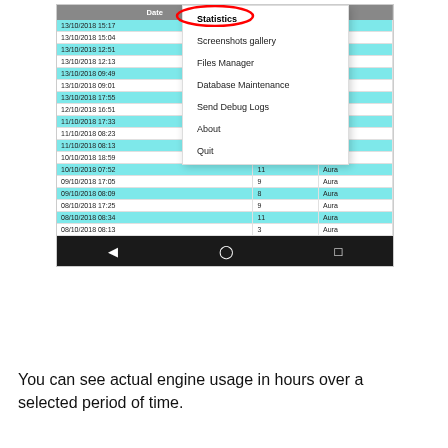[Figure (screenshot): Android app screenshot showing a data table with Date, Km, and other columns listing entries from October 2018. A dropdown menu is open showing options: Statistics (circled in red), Screenshots gallery, Files Manager, Database Maintenance, Send Debug Logs, About, Quit. The table rows alternate between white and cyan/blue. At the bottom is an Android navigation bar.]
You can see actual engine usage in hours over a selected period of time.